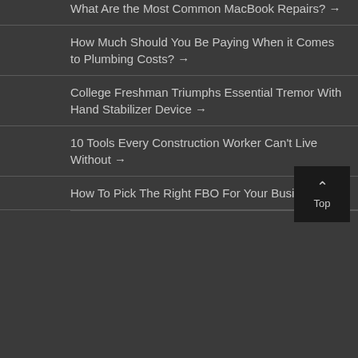What Are the Most Common MacBook Repairs? →
How Much Should You Be Paying When it Comes to Plumbing Costs? →
College Freshman Triumphs Essential Tremor With Hand Stabilizer Device →
10 Tools Every Construction Worker Can't Live Without →
How To Pick The Right FBO For Your Business →
Top